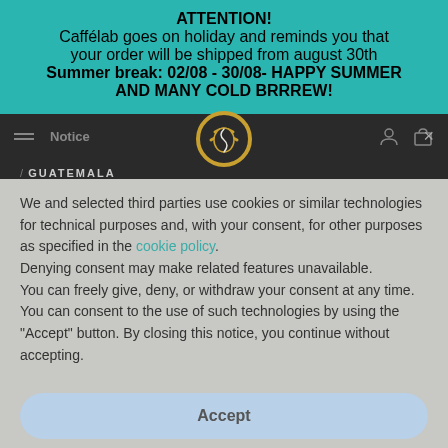ATTENTION!
Caffélab goes on holiday and reminds you that your order will be shipped from august 30th
Summer break: 02/08 - 30/08- HAPPY SUMMER AND MANY COLD BRRREW!
Notice
GUATEMALA
We and selected third parties use cookies or similar technologies for technical purposes and, with your consent, for other purposes as specified in the cookie policy. Denying consent may make related features unavailable. You can freely give, deny, or withdraw your consent at any time. You can consent to the use of such technologies by using the "Accept" button. By closing this notice, you continue without accepting.
Accept
Learn more and customise